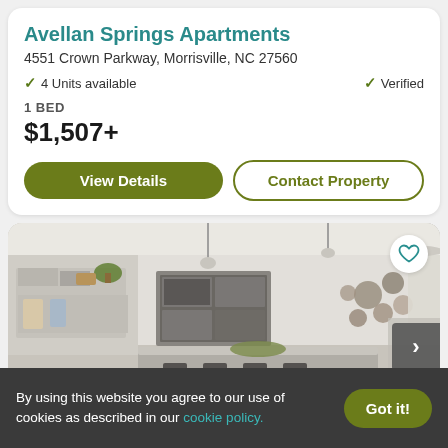Avellan Springs Apartments
4551 Crown Parkway, Morrisville, NC 27560
✓ 4 Units available   ✓ Verified
1 BED
$1,507+
View Details | Contact Property
[Figure (photo): Interior photo of a modern apartment living/kitchen area with pendant lights, open shelving with plants, wall art, and a dining area visible in the background. A next-arrow navigation button is visible on the right side.]
By using this website you agree to our use of cookies as described in our cookie policy.